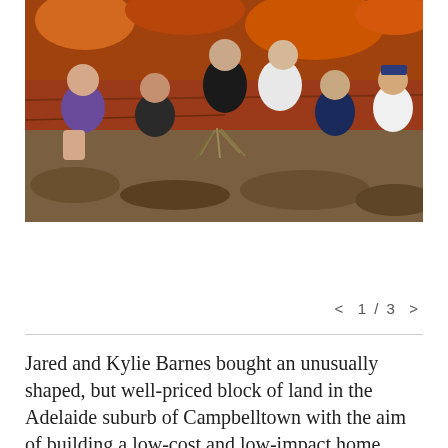[Figure (photo): A family of six (two adults and four children) sitting on rocks in front of a red rock wall. The children include teenagers and younger kids. One adult wears a black t-shirt, the other a striped top. The setting appears to be an Australian outback or national park.]
< 1 / 3 >
Jared and Kylie Barnes bought an unusually shaped, but well-priced block of land in the Adelaide suburb of Campbelltown with the aim of building a low-cost and low-impact home